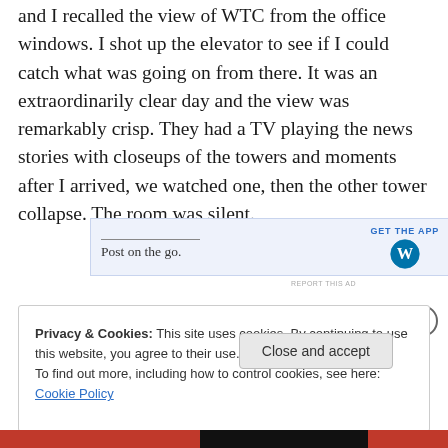and I recalled the view of WTC from the office windows. I shot up the elevator to see if I could catch what was going on from there. It was an extraordinarily clear day and the view was remarkably crisp. They had a TV playing the news stories with closeups of the towers and moments after I arrived, we watched one, then the other tower collapse. The room was silent.
[Figure (other): WordPress app advertisement banner: 'Post on the go.' with GET THE APP button and WordPress logo]
REPORT THIS AD
Privacy & Cookies: This site uses cookies. By continuing to use this website, you agree to their use. To find out more, including how to control cookies, see here: Cookie Policy
Close and accept